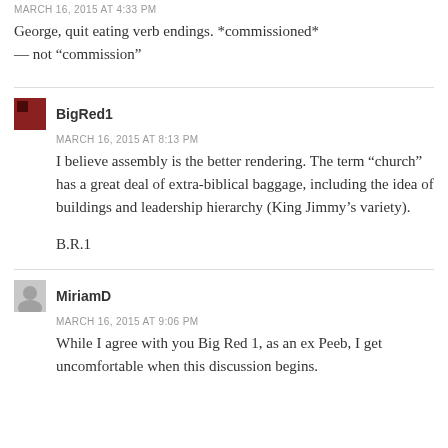MARCH 16, 2015 AT 4:33 PM
George, quit eating verb endings. *commissioned* — not “commission”
BigRed1
MARCH 16, 2015 AT 8:13 PM
I believe assembly is the better rendering. The term “church” has a great deal of extra-biblical baggage, including the idea of buildings and leadership hierarchy (King Jimmy’s variety).

B.R.1
MiriamD
MARCH 16, 2015 AT 9:06 PM
While I agree with you Big Red 1, as an ex Peeb, I get uncomfortable when this discussion begins.